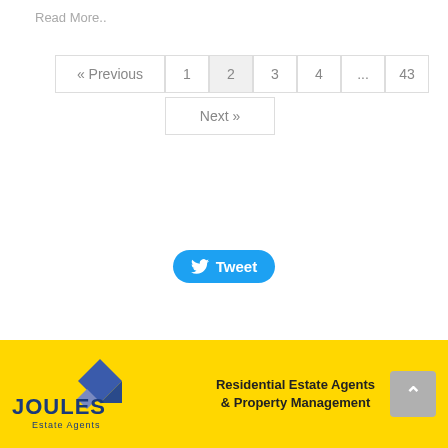Read More..
« Previous  1  2  3  4  ...  43  Next »
[Figure (logo): Twitter Tweet button, blue rounded rectangle with bird icon and 'Tweet' text]
Joules Estate Agents — Residential Estate Agents & Property Management